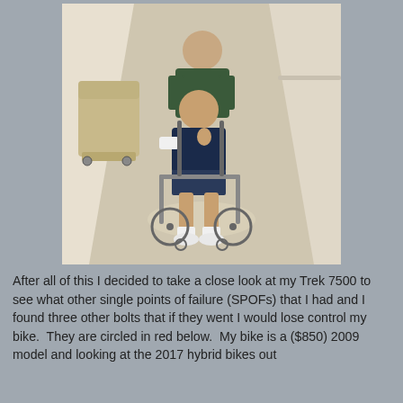[Figure (photo): A man in a wheelchair being pushed down a hospital hallway by a person in scrubs. The man in the wheelchair is giving a thumbs up and has a bandaged hand/arm. A recliner chair is visible on the left side of the hallway.]
After all of this I decided to take a close look at my Trek 7500 to see what other single points of failure (SPOFs) that I had and I found three other bolts that if they went I would lose control my bike.  They are circled in red below.  My bike is a ($850) 2009 model and looking at the 2017 hybrid bikes out